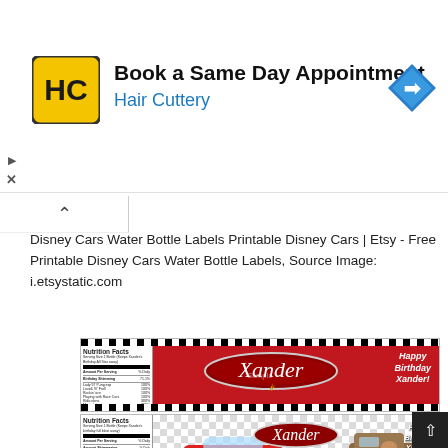[Figure (screenshot): Hair Cuttery advertisement banner: HC logo, 'Book a Same Day Appointment', 'Hair Cuttery', blue navigation arrow icon]
Disney Cars Water Bottle Labels Printable Disney Cars | Etsy - Free Printable Disney Cars Water Bottle Labels, Source Image: i.etsystatic.com
[Figure (photo): Disney Cars themed water bottle label - red background with 'Xander' name badge and 'Happy Birthday Xander!' text, with nutrition facts panel]
[Figure (photo): Disney Cars themed water bottle label - checkered flag background with Lightning McQueen and Mater characters, 'Xander' name, 'Happy Birthday Xander!' text, nutrition facts panel]
[Figure (photo): Disney Cars themed water bottle label - blue background with Lightning McQueen, Mater, and 'Xander' name, partially visible]